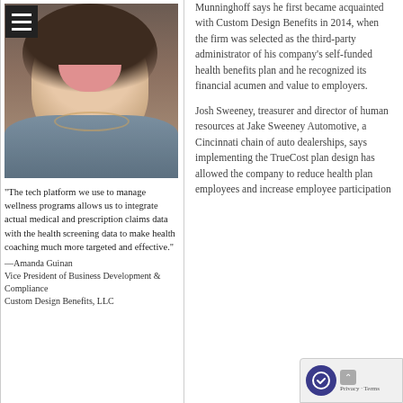[Figure (photo): Headshot photo of Amanda Guinan, a woman with brown hair and a necklace, wearing a gray jacket over a white top, smiling]
“The tech platform we use to manage wellness programs allows us to integrate actual medical and prescription claims data with the health screening data to make health coaching much more targeted and effective.”
—Amanda Guinan
Vice President of Business Development & Compliance
Custom Design Benefits, LLC
Munninghoff says he first became acquainted with Custom Design Benefits in 2014, when the firm was selected as the third-party administrator of his company’s self-funded health benefits plan and he recognized its financial acumen and value to employers.

Josh Sweeney, treasurer and director of human resources at Jake Sweeney Automotive, a Cincinnati chain of auto dealerships, says implementing the TrueCost plan design has allowed the company to reduce health plan employees and increase employee participation